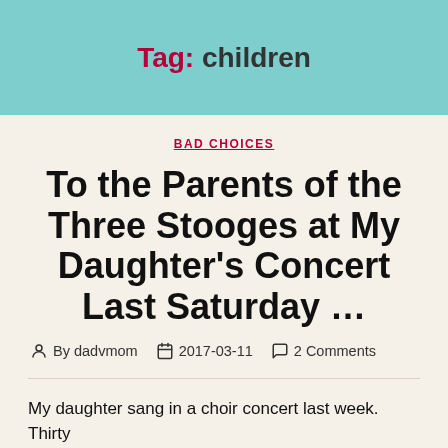Tag: children
BAD CHOICES
To the Parents of the Three Stooges at My Daughter's Concert Last Saturday …
By dadvmom   2017-03-11   2 Comments
My daughter sang in a choir concert last week. Thirty